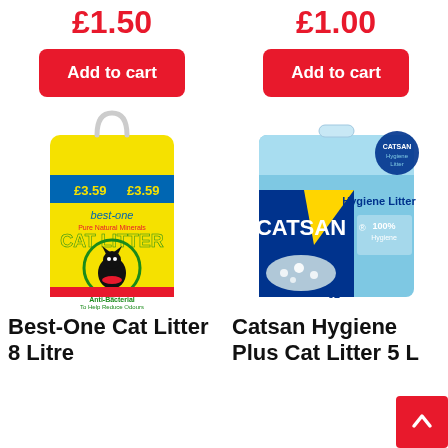£1.50
£1.00
Add to cart
Add to cart
[Figure (photo): Best-One Cat Litter 8 Litre yellow bag with cat illustration, £3.59 price tags]
[Figure (photo): Catsan Hygiene Plus Cat Litter 5L blue box]
Best-One Cat Litter 8 Litre
Catsan Hygiene Plus Cat Litter 5 L